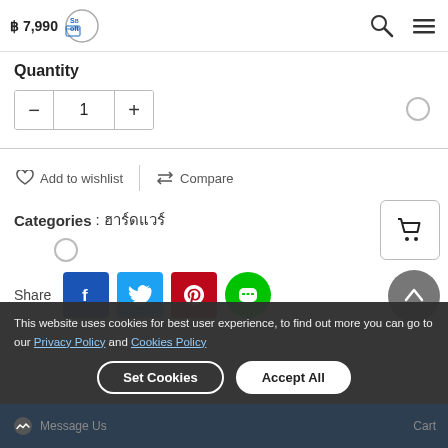฿ 7,990 — SBSoft logo with search and menu icons
Quantity
Quantity control: minus, 1, plus
Add to wishlist  |  Compare
Categories : ฮาร์ดแวร์
Share (Facebook, Twitter, Pinterest, LINE)
This website uses cookies for best user experience, to find out more you can go to our Privacy Policy and Cookies Policy
Set Cookies   Accept All
Message Us   Cart